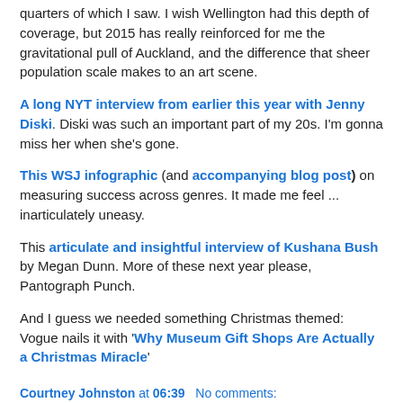quarters of which I saw. I wish Wellington had this depth of coverage, but 2015 has really reinforced for me the gravitational pull of Auckland, and the difference that sheer population scale makes to an art scene.
A long NYT interview from earlier this year with Jenny Diski. Diski was such an important part of my 20s. I'm gonna miss her when she's gone.
This WSJ infographic (and accompanying blog post) on measuring success across genres. It made me feel ... inarticulately uneasy.
This articulate and insightful interview of Kushana Bush by Megan Dunn. More of these next year please, Pantograph Punch.
And I guess we needed something Christmas themed: Vogue nails it with 'Why Museum Gift Shops Are Actually a Christmas Miracle'
Courtney Johnston at 06:39   No comments: